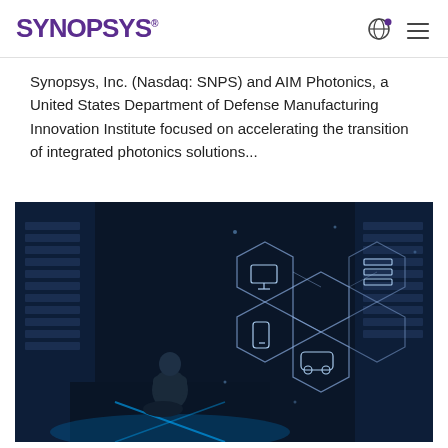SYNOPSYS
Synopsys, Inc. (Nasdaq: SNPS) and AIM Photonics, a United States Department of Defense Manufacturing Innovation Institute focused on accelerating the transition of integrated photonics solutions...
[Figure (photo): A person crouching in a data center corridor with server racks, overlaid with a glowing blue hexagonal network infographic showing connected IoT device icons.]